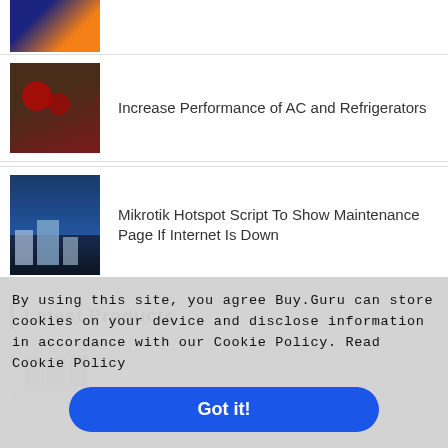[Figure (photo): Top partial image strip showing a city at night with orange/blue lighting]
[Figure (photo): Thumbnail of a dark refrigerator with red interior lights]
Increase Performance of AC and Refrigerators
[Figure (photo): Thumbnail of city skyline at night with blue tones, skyscrapers near water]
Mikrotik Hotspot Script To Show Maintenance Page If Internet Is Down
Latest Products
[Figure (photo): Partial thumbnail of a product]
By using this site, you agree Buy.Guru can store cookies on your device and disclose information in accordance with our Cookie Policy. Read Cookie Policy
Got it!